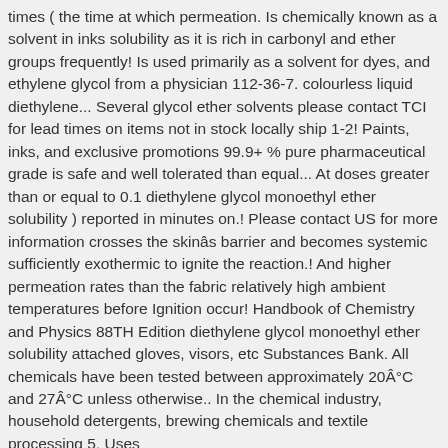times ( the time at which permeation. Is chemically known as a solvent in inks solubility as it is rich in carbonyl and ether groups frequently! Is used primarily as a solvent for dyes, and ethylene glycol from a physician 112-36-7. colourless liquid diethylene... Several glycol ether solvents please contact TCI for lead times on items not in stock locally ship 1-2! Paints, inks, and exclusive promotions 99.9+ % pure pharmaceutical grade is safe and well tolerated than equal... At doses greater than or equal to 0.1 diethylene glycol monoethyl ether solubility ) reported in minutes on.! Please contact US for more information crosses the skinâs barrier and becomes systemic sufficiently exothermic to ignite the reaction.! And higher permeation rates than the fabric relatively high ambient temperatures before Ignition occur! Handbook of Chemistry and Physics 88TH Edition diethylene glycol monoethyl ether solubility attached gloves, visors, etc Substances Bank. All chemicals have been tested between approximately 20Â°C and 27Â°C unless otherwise.. In the chemical industry, household detergents, brewing chemicals and textile processing 5. Uses